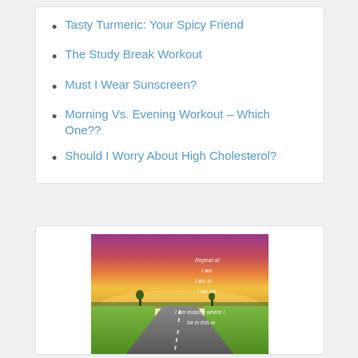Tasty Turmeric: Your Spicy Friend
The Study Break Workout
Must I Wear Sunscreen?
Morning Vs. Evening Workout – Which One??
Should I Worry About High Cholesterol?
[Figure (photo): A sunset road photo with motivational affirmations text overlay: 'Repeat af... I am... I am in... I am be... I am exactly where I... be in this...']